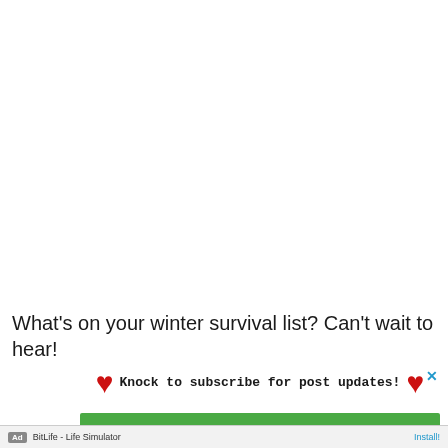What's on your winter survival list? Can't wait to hear!
[Figure (infographic): Subscribe banner with two red hearts and text 'Knock to subscribe for post updates!' with a blue X close button in the top right]
[Figure (screenshot): Mobile advertisement for BitLife - Life Simulator app, shown as a red banner ad with app icon and Install! button]